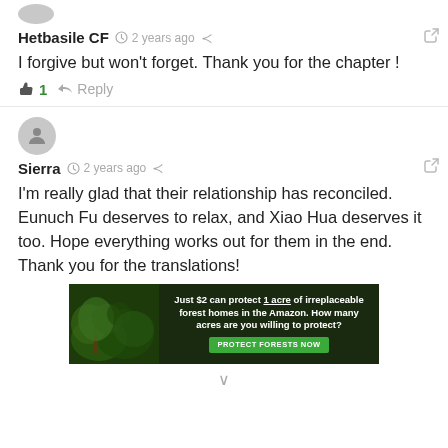Hetbasile CF · 2 years ago
I forgive but won't forget. Thank you for the chapter !
👍 1  ➤ Reply
Sierra · 2 years ago
I'm really glad that their relationship has reconciled. Eunuch Fu deserves to relax, and Xiao Hua deserves it too. Hope everything works out for them in the end.
Thank you for the translations!
[Figure (photo): Rainforest advertisement banner: Just $2 can protect 1 acre of irreplaceable forest homes in the Amazon. How many acres are you willing to protect? PROTECT FORESTS NOW button.]